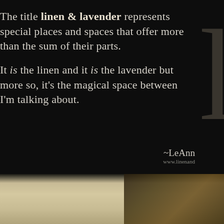The title linen & lavender represents special places and spaces that offer more than the sum of their parts.

It is the linen and it is the lavender but more so, it's the magical space between I'm talking about.
~LeAnn
www.linenand...
THIS • LOVE
[Figure (photo): Bottom portion showing a beige/cream textured surface with decorative golden/dark floral or lace elements on the right side]